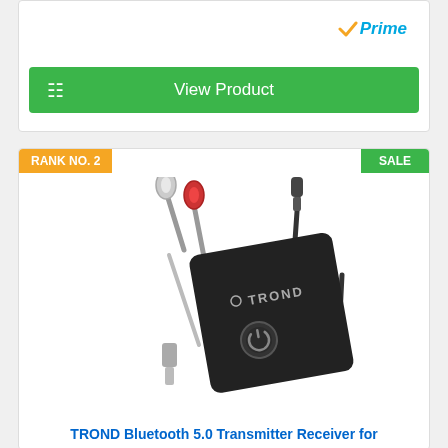[Figure (other): Amazon Prime badge with orange checkmark and blue italic Prime text]
[Figure (other): Green 'View Product' button with white cart icon on left]
RANK NO. 2
SALE
[Figure (photo): TROND Bluetooth 5.0 Transmitter Receiver device (black rectangular unit) with RCA cables (white and red), 3.5mm audio jack cables, and power button visible]
TROND Bluetooth 5.0 Transmitter Receiver for